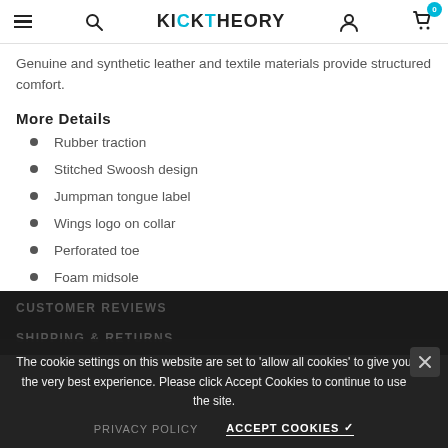KICKTHEORY navigation header with hamburger menu, search, logo, user icon, and cart (0)
Genuine and synthetic leather and textile materials provide structured comfort.
More Details
Rubber traction
Stitched Swoosh design
Jumpman tongue label
Wings logo on collar
Perforated toe
Foam midsole
CUSTOMER REVIEWS
SHIPPING & RETURNS
The cookie settings on this website are set to 'allow all cookies' to give you the very best experience. Please click Accept Cookies to continue to use the site.